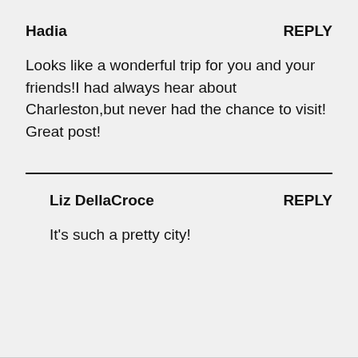Hadia
REPLY
Looks like a wonderful trip for you and your friends!I had always hear about Charleston,but never had the chance to visit! Great post!
Liz DellaCroce
REPLY
It's such a pretty city!